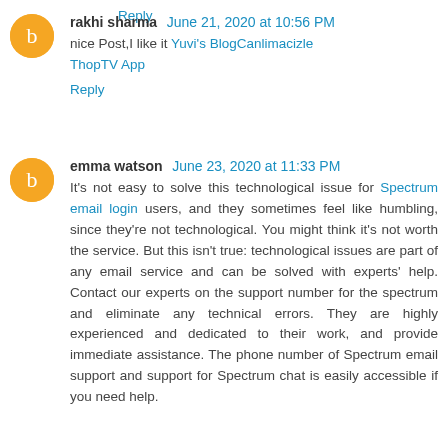Reply
rakhi sharma  June 21, 2020 at 10:56 PM
nice Post,I like it Yuvi's BlogCanlimacizle ThopTV App
Reply
emma watson  June 23, 2020 at 11:33 PM
It's not easy to solve this technological issue for Spectrum email login users, and they sometimes feel like humbling, since they're not technological. You might think it's not worth the service. But this isn't true: technological issues are part of any email service and can be solved with experts' help. Contact our experts on the support number for the spectrum and eliminate any technical errors. They are highly experienced and dedicated to their work, and provide immediate assistance. The phone number of Spectrum email support and support for Spectrum chat is easily accessible if you need help.